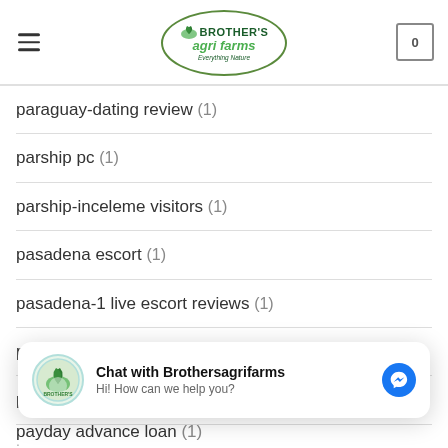Brother's Agri Farms - Everything Nature
paraguay-dating review (1)
parship pc (1)
parship-inceleme visitors (1)
pasadena escort (1)
pasadena-1 live escort reviews (1)
passion.com funziona (1)
passion.com Zaloguj si? (1)
[Figure (screenshot): Chat widget overlay: Chat with Brothersagrifarms, Hi! How can we help you?, with Messenger icon]
payday advance loan (1)